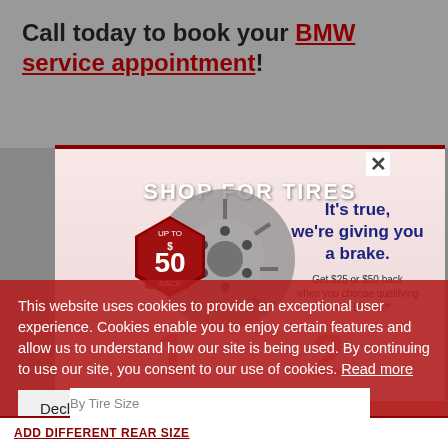Call today to book your BMW service appointment!
[Figure (screenshot): NAPA auto parts advertisement: SHOP FOR TIRES banner with a brake disc image, red hexagon badge saying UP TO $50 BACK, and promotional text 'It's true, we're giving you a brake. Get $25 or $50 back when you choose qualifying NAPA Brakes!']
This website uses cookies to provide an exceptional user experience. Cookies enable you to enjoy certain features and allow us to understand how our site is being used. By continuing to use our site, you consent to our use of cookies. Read more
Decline
Accept Cookies
By Tire Size
ADD DIFFERENT REAR SIZE